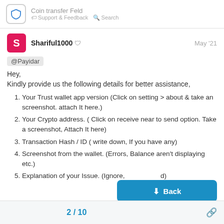Coin transfer Feld
Shariful1000  May '21
@Payidar
Hey,
Kindly provide us the following details for better assistance,
Your Trust wallet app version (Click on setting > about & take an screenshot. attach It here.)
Your Crypto address. ( Click on receive near to send option. Take a screenshot, Attach It here)
Transaction Hash / ID ( write down, If you have any)
Screenshot from the wallet. (Errors, Balance aren't displaying etc.)
Explanation of your Issue. (Ignore, [covered] d)
2 / 10